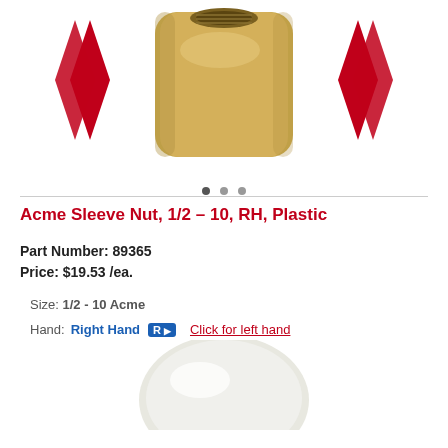[Figure (photo): Brass Acme sleeve nut product photo, top portion visible, gold/brass cylindrical nut with threaded interior, red chevron decorations on sides]
• • •  (carousel dots)
Acme Sleeve Nut, 1/2 – 10, RH, Plastic
Part Number: 89365
Price: $19.53 /ea.
Size: 1/2 - 10 Acme
Hand: Right Hand R  Click for left hand
Operating Load Rating: 625 (lbs.)
Static Load Rating: 1,000 (lbs.)
ADD TO CART
[Figure (photo): White plastic Acme sleeve nut product photo, bottom portion of page, white/cream colored elongated nut shape]